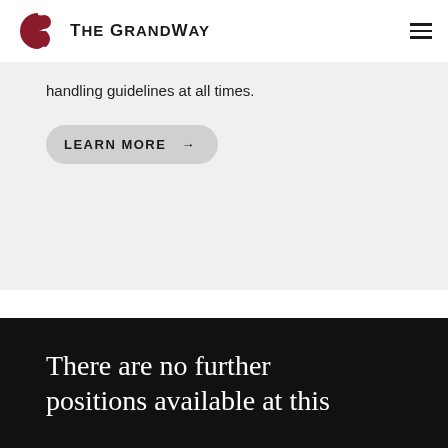The GrandWay
handling guidelines at all times.
LEARN MORE →
There are no further positions available at this